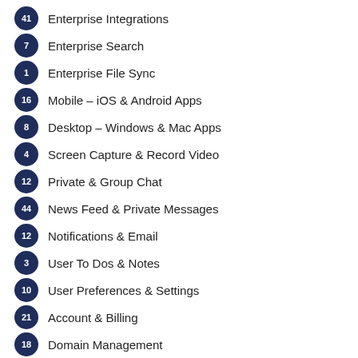41  Enterprise Integrations
7  Enterprise Search
1  Enterprise File Sync
16  Mobile – iOS & Android Apps
8  Desktop – Windows & Mac Apps
4  Screen Capture & Record Video
12  Private & Group Chat
44  News Feed & Private Messages
12  Notifications & Email
3  User To Dos & Notes
10  User Preferences & Settings
21  Account & Billing
18  Domain Management
26  Security & Compliance
8  Analytics & Reporting